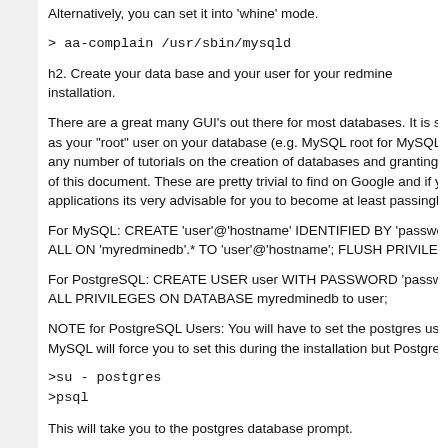Alternatively, you can set it into 'whine' mode.
> aa-complain /usr/sbin/mysqld
h2. Create your data base and your user for your redmine installation.
There are a great many GUI's out there for most databases. It is strongly recom as your "root" user on your database (e.g. MySQL root for MySQL or 'postgres any number of tutorials on the creation of databases and granting of rights on t of this document. These are pretty trivial to find on Google and if you are going applications its very advisable for you to become at least passingly familiar wit
For MySQL: CREATE 'user'@'hostname' IDENTIFIED BY 'password'; CREATE ALL ON 'myredminedb'.* TO 'user'@'hostname'; FLUSH PRIVILEGES;
For PostgreSQL: CREATE USER user WITH PASSWORD 'password'; CREAT ALL PRIVILEGES ON DATABASE myredminedb to user;
NOTE for PostgreSQL Users: You will have to set the postgres user password MySQL will force you to set this during the installation but Postgres does not. T
>su - postgres
>psql
This will take you to the postgres database prompt.
>ALTER USER postgres with password 'my-secure-password';
This will set the password. You can now proceed to editing the postgres config remotely.
h2. Install Redmine.